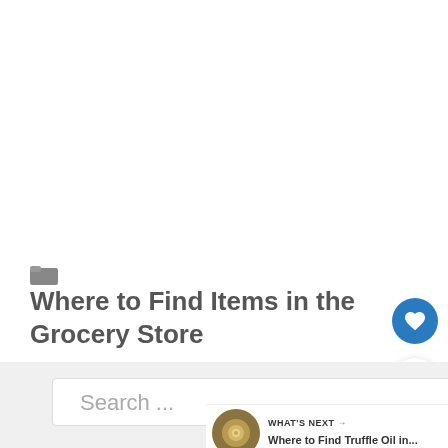Where to Find Items in the Grocery Store
[Figure (other): Heart/favorite button (blue circle with white heart icon)]
[Figure (other): Share button (white circle with share icon)]
[Figure (other): Search bar with placeholder text 'Search ...']
[Figure (other): What's Next panel showing a circular food image and text 'Where to Find Truffle Oil in...']